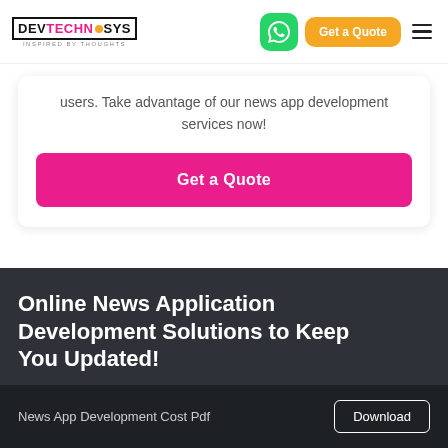DevTechnoSys - Inspired by Thoughts
users. Take advantage of our news app development services now!
Get a Quote
Online News Application Development Solutions to Keep You Updated!
News App Development Cost Pdf
Download